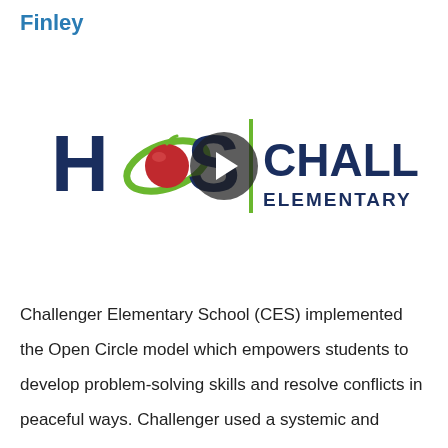Finley
[Figure (logo): HCS Challenger Elementary School logo with a play button overlay indicating a video thumbnail]
Challenger Elementary School (CES) implemented the Open Circle model which empowers students to develop problem-solving skills and resolve conflicts in peaceful ways. Challenger used a systemic and